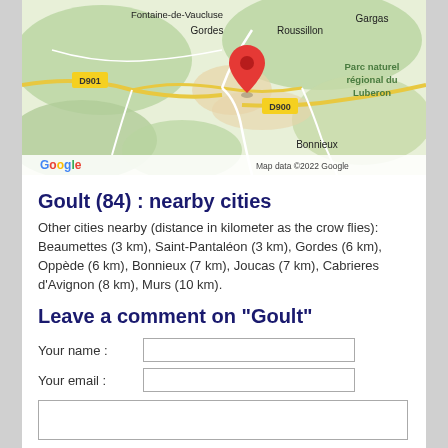[Figure (map): Google Maps screenshot showing the area around Goult (84), France. Visible locations include Fontaine-de-Vaucluse, Gordes, Roussillon, Gargas, D901, D900, Bonnieux, and Parc naturel régional du Luberon. A red location pin is placed near the center. Google logo and 'Map data ©2022 Google' attribution are visible.]
Goult (84) : nearby cities
Other cities nearby (distance in kilometer as the crow flies):
Beaumettes (3 km), Saint-Pantaléon (3 km), Gordes (6 km), Oppède (6 km), Bonnieux (7 km), Joucas (7 km), Cabrieres d'Avignon (8 km), Murs (10 km).
Leave a comment on "Goult"
Your name :
Your email :